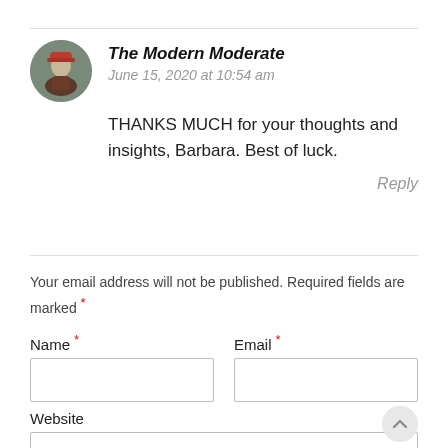[Figure (photo): Circular avatar photo of a person wearing a red hat, outdoors setting]
The Modern Moderate
June 15, 2020 at 10:54 am
THANKS MUCH for your thoughts and insights, Barbara. Best of luck.
Reply
Your email address will not be published. Required fields are marked *
Name *
Email *
Website